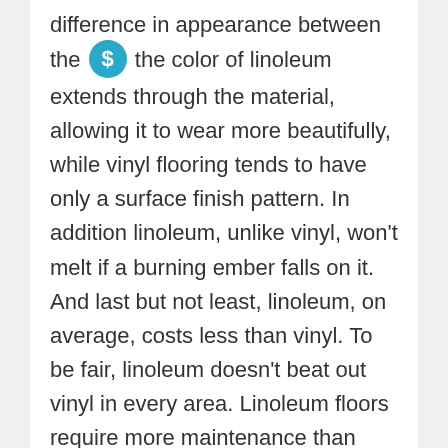difference in appearance between the [$ icon] the color of linoleum extends through the material, allowing it to wear more beautifully, while vinyl flooring tends to have only a surface finish pattern. In addition linoleum, unlike vinyl, won't melt if a burning ember falls on it. And last but not least, linoleum, on average, costs less than vinyl. To be fair, linoleum doesn't beat out vinyl in every area. Linoleum floors require more maintenance than vinyl ones, as they occasionally must be sealed